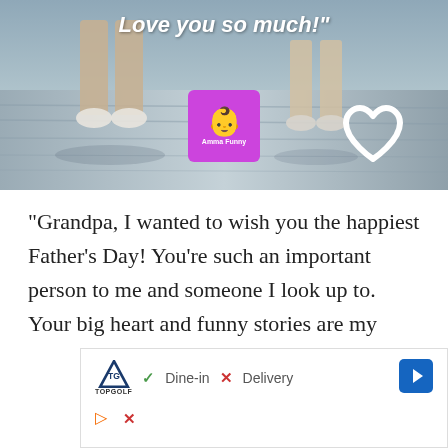[Figure (photo): Photo of two people's legs/feet walking on a wooden surface, overlaid with italic white text 'Love you so much!' and a purple logo badge with a baby icon labeled 'Amma Funny', plus a white heart outline icon in the bottom right corner of the image.]
“Grandpa, I wanted to wish you the happiest Father’s Day! You’re such an important person to me and someone I look up to. Your big heart and funny stories are my
[Figure (other): Advertisement overlay: Topgolf logo with shield icon, checkmark 'Dine-in', X 'Delivery', blue diamond arrow button, and small play/close icons below.]